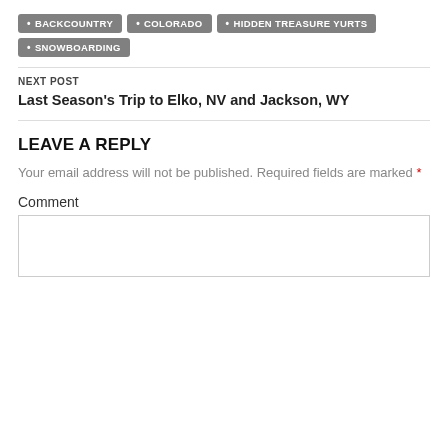• BACKCOUNTRY
• COLORADO
• HIDDEN TREASURE YURTS
• SNOWBOARDING
NEXT POST
Last Season's Trip to Elko, NV and Jackson, WY
LEAVE A REPLY
Your email address will not be published. Required fields are marked *
Comment